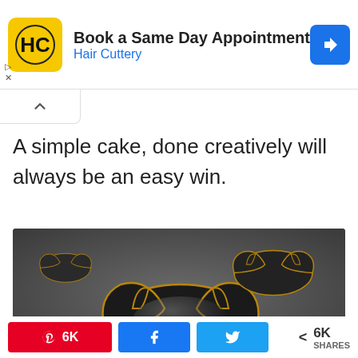[Figure (screenshot): Hair Cuttery ad banner with yellow HC logo, text 'Book a Same Day Appointment' and 'Hair Cuttery' in blue, blue diamond navigation icon on the right]
A simple cake, done creatively will always be an easy win.
[Figure (photo): Batman-shaped cookies with dark glossy icing and gold outlines arranged on a dark grey background]
6K  f  🐦  < 6K SHARES